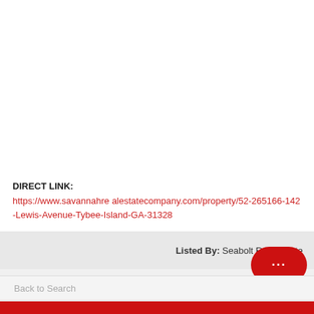DIRECT LINK:
https://www.savannahre alestatecompany.com/property/52-265166-142-Lewis-Avenue-Tybee-Island-GA-31328
Listed By: Seabolt Real Estate
Back to Search